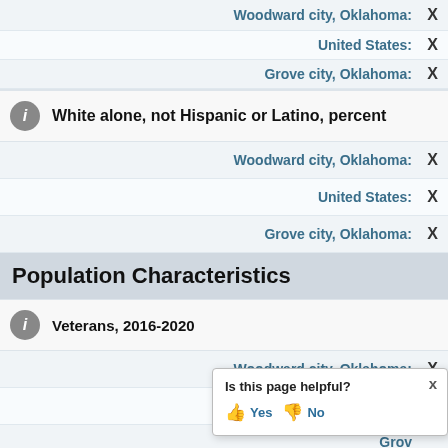Woodward city, Oklahoma: X
United States: X
Grove city, Oklahoma: X
White alone, not Hispanic or Latino, percent
Woodward city, Oklahoma: X
United States: X
Grove city, Oklahoma: X
Population Characteristics
Veterans, 2016-2020
Woodward city, Oklahoma: X
United States: X
Grove city, Oklahoma: X
Foreign born persons, percent
Is this page helpful? Yes No